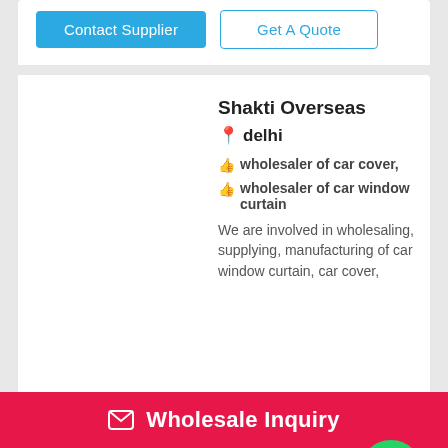Contact Supplier
Get A Quote
Shakti Overseas
delhi
wholesaler of car cover,
wholesaler of car window curtain
We are involved in wholesaling, supplying, manufacturing of car window curtain, car cover,
Contact Supplier
Get A Quote
Wholesale Inquiry